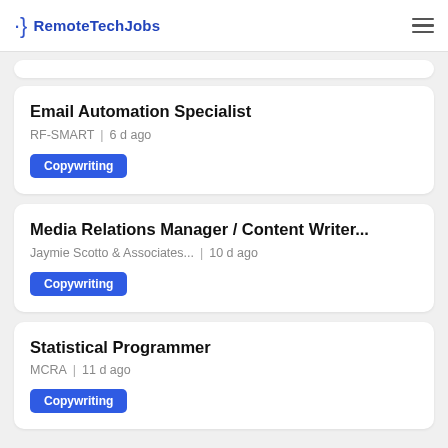RemoteTechJobs
Email Automation Specialist — RF-SMART | 6 d ago — Copywriting
Media Relations Manager / Content Writer... — Jaymie Scotto & Associates... | 10 d ago — Copywriting
Statistical Programmer — MCRA | 11 d ago — Copywriting